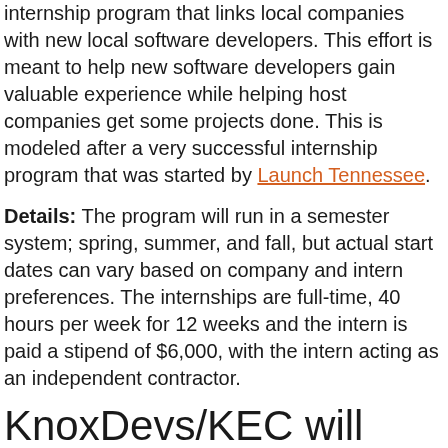internship program that links local companies with new local software developers. This effort is meant to help new software developers gain valuable experience while helping host companies get some projects done. This is modeled after a very successful internship program that was started by Launch Tennessee.
Details: The program will run in a semester system; spring, summer, and fall, but actual start dates can vary based on company and intern preferences. The internships are full-time, 40 hours per week for 12 weeks and the intern is paid a stipend of $6,000, with the intern acting as an independent contractor.
KnoxDevs/KEC will provide: